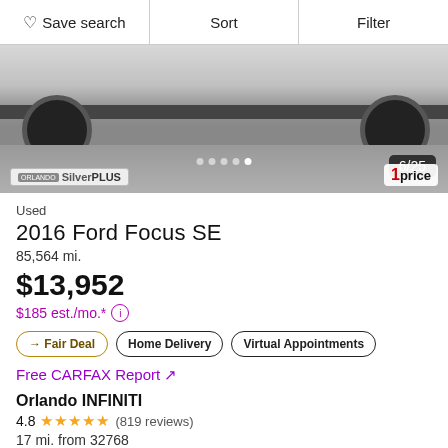Save search | Sort | Filter
[Figure (photo): Partial view of a silver car showing wheels and underside on a paver surface, with dealer badges and image counter overlay]
Used
2016 Ford Focus SE
85,564 mi.
$13,952
$185 est./mo.* (i)
→ Fair Deal
Home Delivery
Virtual Appointments
Free CARFAX Report ↗
Orlando INFINITI
4.8 ★★★★★ (819 reviews)
17 mi. from 32768